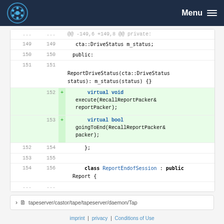BEST Menu
[Figure (screenshot): Code diff view showing C++ source changes. Lines 149-156 of a header file with added lines 152-153 marked in green showing virtual void execute and virtual bool goingToEnd method declarations.]
tapeserver/castor/tape/tapeserver/daemon/Tap
imprint | privacy | Conditions of Use